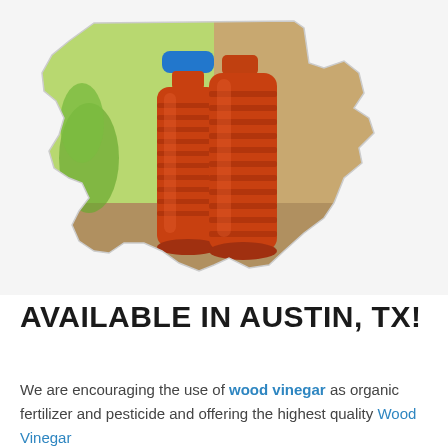[Figure (illustration): Two amber/brown plastic bottles with ribbed texture and blue cap, filled with wood vinegar, clipped into the shape of the state of Texas. Background shows green plants on the left and sandy/rocky ground on the right.]
AVAILABLE IN AUSTIN, TX!
We are encouraging the use of wood vinegar as organic fertilizer and pesticide and offering the highest quality Wood Vinegar